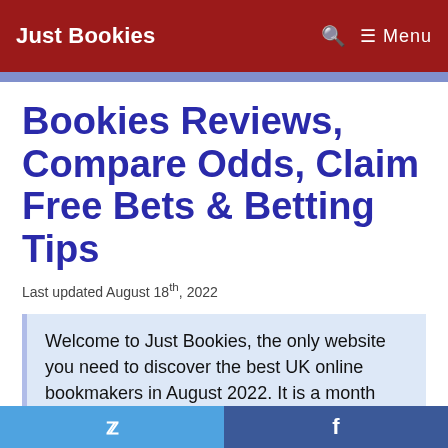Just Bookies  🔍  ☰ Menu
Bookies Reviews, Compare Odds, Claim Free Bets & Betting Tips
Last updated August 18th, 2022
Welcome to Just Bookies, the only website you need to discover the best UK online bookmakers in August 2022. It is a month that sees the start of the domestic football season with the Premier League and Championship
🐦  f